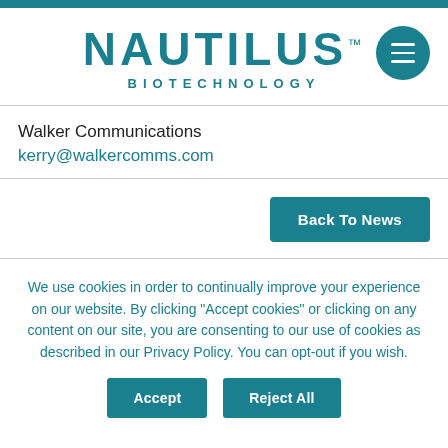[Figure (logo): Nautilus Biotechnology logo with teal colored text and menu hamburger icon button]
Walker Communications
kerry@walkercomms.com
Back To News
We use cookies in order to continually improve your experience on our website. By clicking "Accept cookies" or clicking on any content on our site, you are consenting to our use of cookies as described in our Privacy Policy. You can opt-out if you wish.
Accept
Reject All